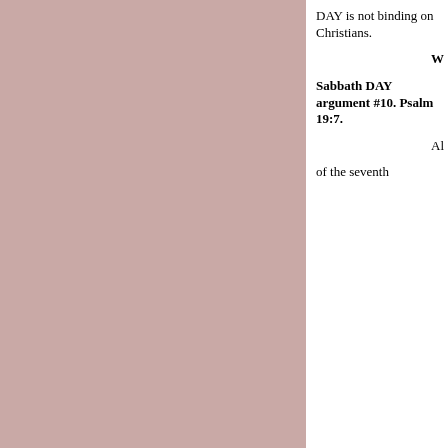DAY is not binding on Christians.
W
Sabbath DAY argument #10. Psalm 19:7.
Al
of the seventh